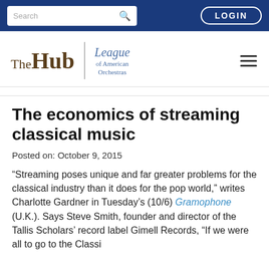Search | LOGIN
[Figure (logo): The Hub | League of American Orchestras logo with hamburger menu icon]
The economics of streaming classical music
Posted on: October 9, 2015
“Streaming poses unique and far greater problems for the classical industry than it does for the pop world,” writes Charlotte Gardner in Tuesday’s (10/6) Gramophone (U.K.). Says Steve Smith, founder and director of the Tallis Scholars’ record label Gimell Records, “If we were all to go to the Classi...